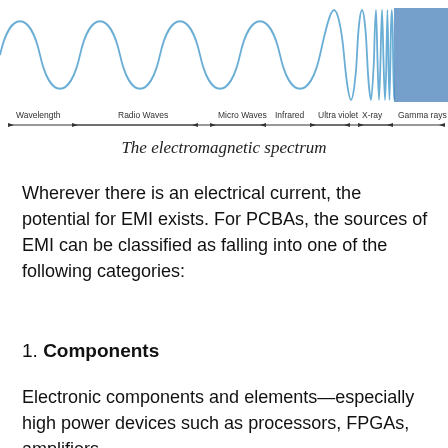[Figure (other): Illustration of the electromagnetic spectrum showing wave patterns from long wavelength radio waves on the left to short wavelength gamma rays on the right. Labels along the bottom axis: Wavelength, Radio Waves, Micro Waves, Infrared, Ultra violet, X-ray, Gamma rays. Arrows indicate the spectrum range.]
The electromagnetic spectrum
Wherever there is an electrical current, the potential for EMI exists. For PCBAs, the sources of EMI can be classified as falling into one of the following categories:
1. Components
Electronic components and elements—especially high power devices such as processors, FPGAs, amplifiers,